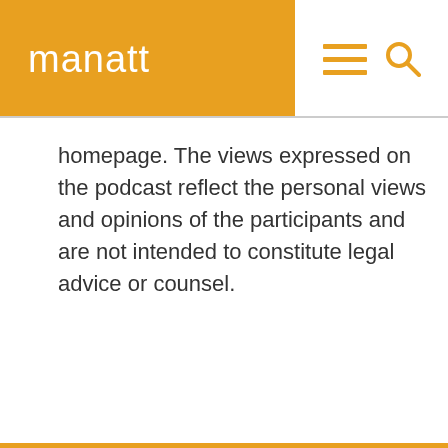manatt
homepage. The views expressed on the podcast reflect the personal views and opinions of the participants and are not intended to constitute legal advice or counsel.